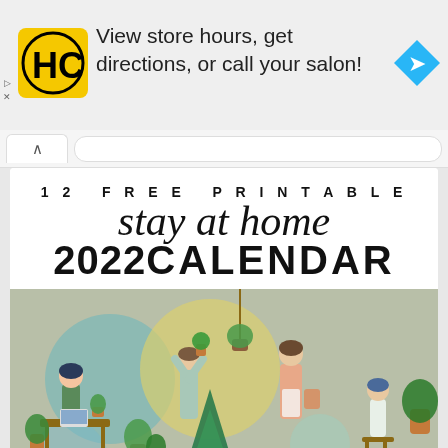[Figure (screenshot): Advertisement banner with HC salon logo (yellow square with black HC letters), text 'View store hours, get directions, or call your salon!', and a blue diamond navigation arrow icon on the right. Small play and X icons on the far left.]
[Figure (screenshot): Browser navigation bar with chevron up caret and URL bar]
12 FREE PRINTABLE stay at home 2022 CALENDAR
[Figure (illustration): Illustrated scene of people tending houseplants indoors. People sitting and standing among many green plants, with a sage/olive green and teal background. Calendar grid numbers visible at the bottom: 1, 8, 15 in first column; 5, 6 in second column; 18 in third column; 19, 20, 21 in subsequent columns; 14 in right area.]